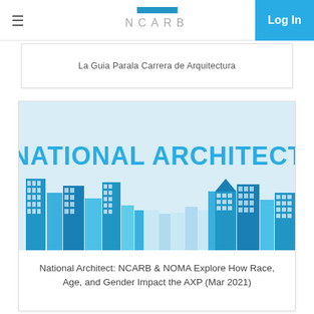NCARB — Log In
La Guia Parala Carrera de Arquitectura
[Figure (illustration): National Architect banner image with blue city skyline silhouette and large blue text reading NATIONAL ARCHITECT on a light blue background]
National Architect: NCARB & NOMA Explore How Race, Age, and Gender Impact the AXP (Mar 2021)